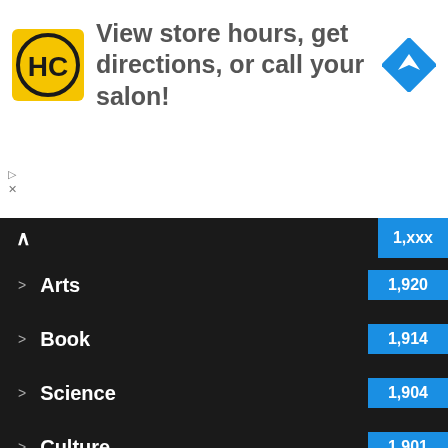[Figure (screenshot): Advertisement banner with HC logo, text 'View store hours, get directions, or call your salon!', and a blue navigation/directions icon]
Arts 1,920
Book 1,914
Science 1,904
Culture 1,901
Bag 1,896
Skills 1,895
Travel Companies 1,856
We use cookies to ensure that we give you the best experience on our website. If you continue to use this site we will assume that you are happy with it.